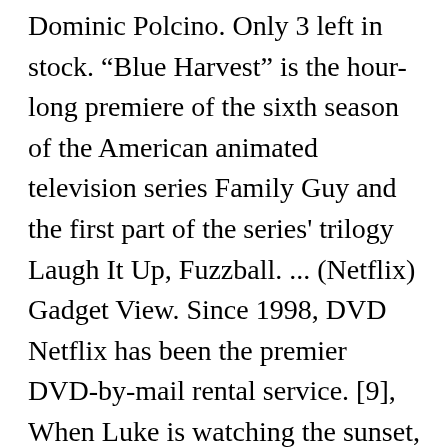Dominic Polcino. Only 3 left in stock. "Blue Harvest" is the hour-long premiere of the sixth season of the American animated television series Family Guy and the first part of the series' trilogy Laugh It Up, Fuzzball. ... (Netflix) Gadget View. Since 1998, DVD Netflix has been the premier DVD-by-mail rental service. [9], When Luke is watching the sunset, he breaks the fourth wall by introducing Star Wars composer John Williams and the London Symphony Orchestra, who have been scoring the scene, in a parody of a scene from Blazing Saddles featuring Count Basie and his orchestra. 12:28. Directed by Dominic Polcino, James Purdum, Peter Shin. Notable Video Game Releases: